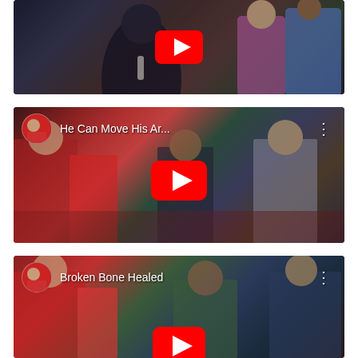[Figure (screenshot): YouTube video thumbnail (first) showing a person with a microphone at what appears to be a church or religious gathering, with a large red YouTube play button in the center]
[Figure (screenshot): YouTube video thumbnail with title 'He Can Move His Ar...' showing a channel icon, people at a religious event, a large red YouTube play button in center, and three-dot menu icon]
[Figure (screenshot): YouTube video thumbnail with title 'Broken Bone Healed' showing a channel icon, people at a religious event, a large red YouTube play button partially visible, and three-dot menu icon]